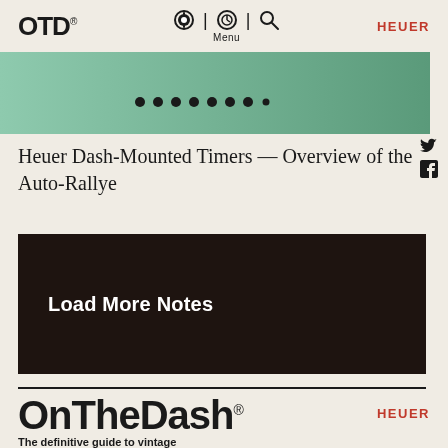OTD® | Menu | HEUER
[Figure (photo): Partial photo of a Heuer dash-mounted timer with green background and dark dial with dots/markings visible]
Heuer Dash-Mounted Timers — Overview of the Auto-Rallye
Load More Notes
OnTheDash®
HEUER
The definitive guide to vintage Heuer timepieces.